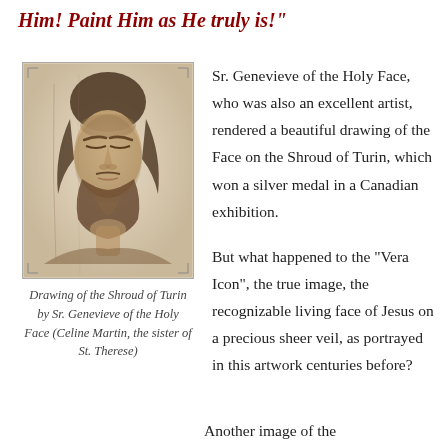Him! Paint Him as He truly is!"
[Figure (illustration): Drawing of the face on the Shroud of Turin, a sepia-toned portrait showing a bearded man's face with closed or downcast eyes, rendered in dark brown tones on a light background.]
Drawing of the Shroud of Turin by Sr. Genevieve of the Holy Face (Celine Martin, the sister of St. Therese)
Sr. Genevieve of the Holy Face, who was also an excellent artist, rendered a beautiful drawing of the Face on the Shroud of Turin, which won a silver medal in a Canadian exhibition.
But what happened to the “Vera Icon”, the true image, the recognizable living face of Jesus on a precious sheer veil, as portrayed in this artwork centuries before?
Another image of the